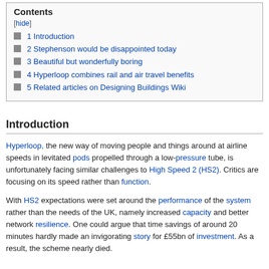Contents
[hide]
1 Introduction
2 Stephenson would be disappointed today
3 Beautiful but wonderfully boring
4 Hyperloop combines rail and air travel benefits
5 Related articles on Designing Buildings Wiki
Introduction
Hyperloop, the new way of moving people and things around at airline speeds in levitated pods propelled through a low-pressure tube, is unfortunately facing similar challenges to High Speed 2 (HS2). Critics are focusing on its speed rather than function.
With HS2 expectations were set around the performance of the system rather than the needs of the UK, namely increased capacity and better network resilience. One could argue that time savings of around 20 minutes hardly made an invigorating story for £55bn of investment. As a result, the scheme nearly died.